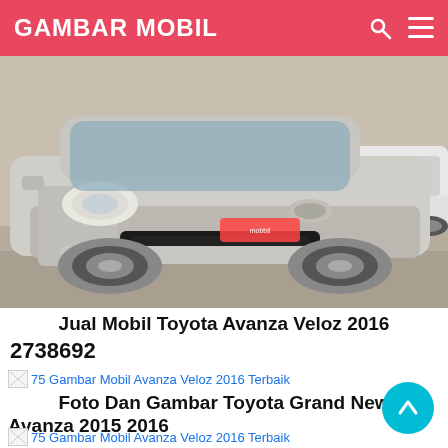GAMBAR MOBIL
[Figure (photo): Silver Toyota Avanza Veloz 2016 photographed from front-left angle in a parking area, with another white SUV visible in background]
Jual Mobil Toyota Avanza Veloz 2016 2738692
[Figure (other): Broken image placeholder: 75 Gambar Mobil Avanza Veloz 2016 Terbaik]
Foto Dan Gambar Toyota Grand New Avanza 2015 2016
[Figure (other): Broken image placeholder: 75 Gambar Mobil Avanza Veloz 2016 Terbaik]